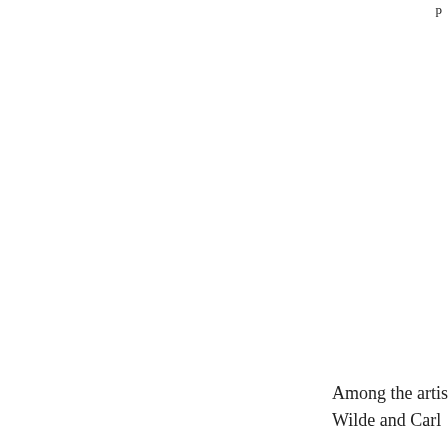p
Among the artis Wilde and Carl